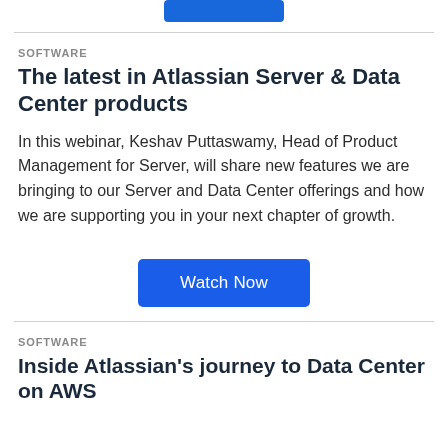[Figure (other): Blue button bar at top (partially visible)]
SOFTWARE
The latest in Atlassian Server & Data Center products
In this webinar, Keshav Puttaswamy, Head of Product Management for Server, will share new features we are bringing to our Server and Data Center offerings and how we are supporting you in your next chapter of growth.
[Figure (other): Watch Now button]
SOFTWARE
Inside Atlassian's journey to Data Center on AWS